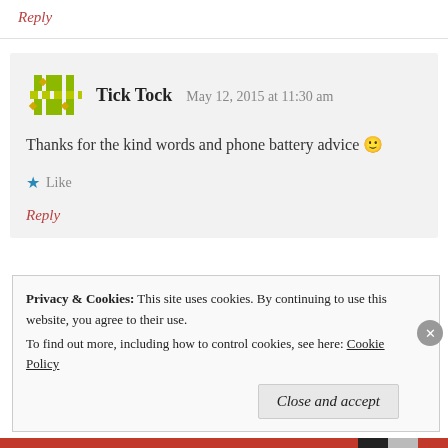Reply
Tick Tock   May 12, 2015 at 11:30 am
Thanks for the kind words and phone battery advice 🙂
Like
Reply
Privacy & Cookies: This site uses cookies. By continuing to use this website, you agree to their use. To find out more, including how to control cookies, see here: Cookie Policy
Close and accept